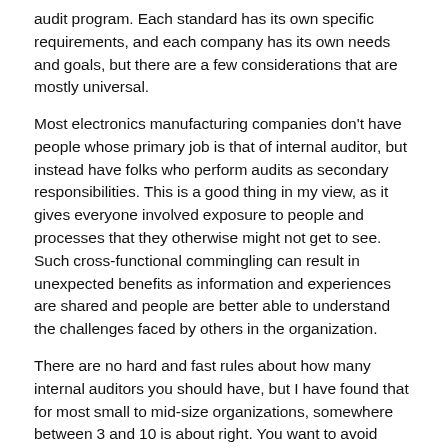audit program. Each standard has its own specific requirements, and each company has its own needs and goals, but there are a few considerations that are mostly universal.
Most electronics manufacturing companies don't have people whose primary job is that of internal auditor, but instead have folks who perform audits as secondary responsibilities. This is a good thing in my view, as it gives everyone involved exposure to people and processes that they otherwise might not get to see. Such cross-functional commingling can result in unexpected benefits as information and experiences are shared and people are better able to understand the challenges faced by others in the organization.
There are no hard and fast rules about how many internal auditors you should have, but I have found that for most small to mid-size organizations, somewhere between 3 and 10 is about right. You want to avoid people auditing their own work and auditor burnout, as well as ensure that the auditors have the right skills and experience to do a thorough job.
Not everyone has what it takes to be a good auditor. Look for people